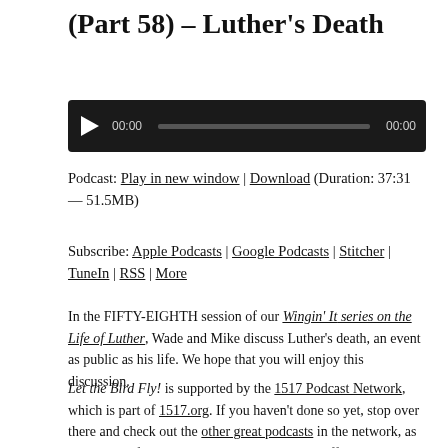(Part 58) – Luther's Death
[Figure (screenshot): Audio player with play button, time display 00:00, progress bar, and end time 00:00 on dark background]
Podcast: Play in new window | Download (Duration: 37:31 — 51.5MB)
Subscribe: Apple Podcasts | Google Podcasts | Stitcher | TuneIn | RSS | More
In the FIFTY-EIGHTH session of our Wingin' It series on the Life of Luther, Wade and Mike discuss Luther's death, an event as public as his life. We hope that you will enjoy this discussion.
Let the Bird Fly! is supported by the 1517 Podcast Network, which is part of 1517.org. If you haven't done so yet, stop over there and check out the other great podcasts in the network, as well as all of the other excellent content they offer.